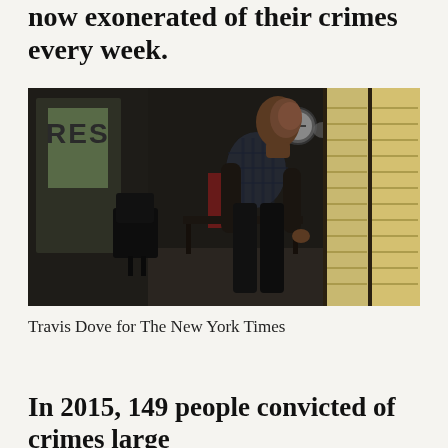now exonerated of their crimes every week.
[Figure (photo): A man standing near a window with blinds, looking out toward the light. The room appears to be an office with a chair, desk, and papers visible in the background. The photo is taken in dramatic low-key lighting.]
Travis Dove for The New York Times
In 2015, 149 people convicted of crimes large